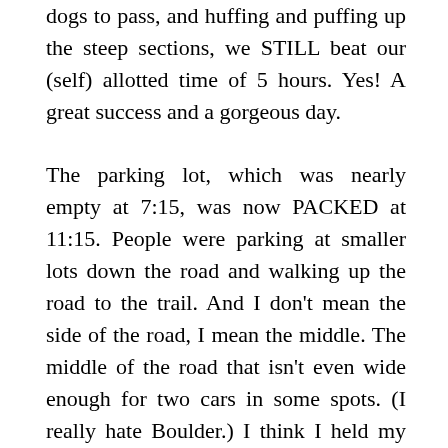dogs to pass, and huffing and puffing up the steep sections, we STILL beat our (self) allotted time of 5 hours. Yes! A great success and a gorgeous day.

The parking lot, which was nearly empty at 7:15, was now PACKED at 11:15. People were parking at smaller lots down the road and walking up the road to the trail. And I don't mean the side of the road, I mean the middle. The middle of the road that isn't even wide enough for two cars in some spots. (I really hate Boulder.) I think I held my breath the entire drive, crawling along, waiting for people to realize I was behind them and move